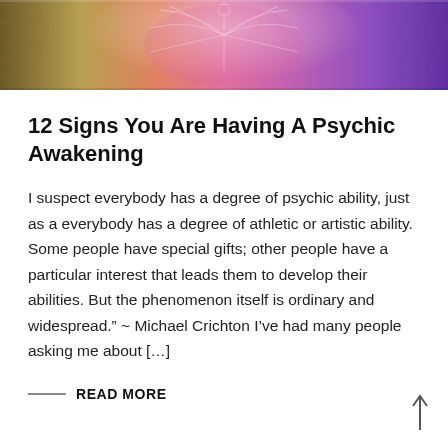[Figure (illustration): A colorful mystical/spiritual banner image featuring a symmetrical figure with outstretched arms surrounded by pink, purple, orange, and green energy or light patterns and geometric shapes.]
12 Signs You Are Having A Psychic Awakening
I suspect everybody has a degree of psychic ability, just as a everybody has a degree of athletic or artistic ability. Some people have special gifts; other people have a particular interest that leads them to develop their abilities. But the phenomenon itself is ordinary and widespread.” ~ Michael Crichton I’ve had many people asking me about […]
READ MORE